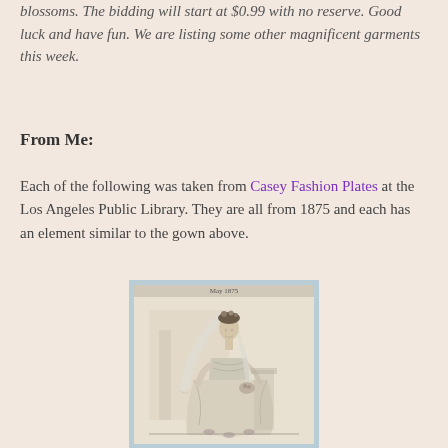blossoms. The bidding will start at $0.99 with no reserve. Good luck and have fun. We are listing some other magnificent garments this week.
From Me:
Each of the following was taken from Casey Fashion Plates at the Los Angeles Public Library. They are all from 1875 and each has an element similar to the gown above.
[Figure (illustration): A vintage fashion plate illustration from May 1875 showing a woman in an elaborate Victorian wedding gown with a long veil, lace details, and a full skirt with floral trim at the hem. The image is framed with a light blue border and has the text 'May 1875' at the top.]